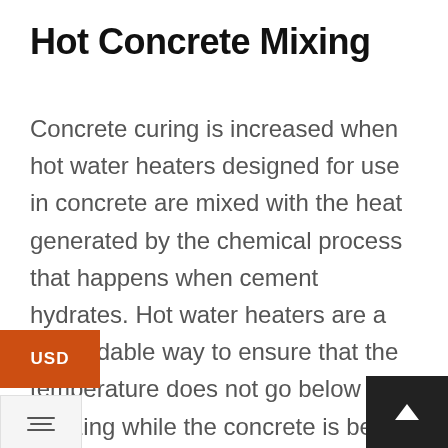Hot Concrete Mixing
Concrete curing is increased when hot water heaters designed for use in concrete are mixed with the heat generated by the chemical process that happens when cement hydrates. Hot water heaters are a dependable way to ensure that the temperature does not go below freezing while the concrete is being finished. While this is a temporary solution, mixing concrete while it is hot allowing finishers the